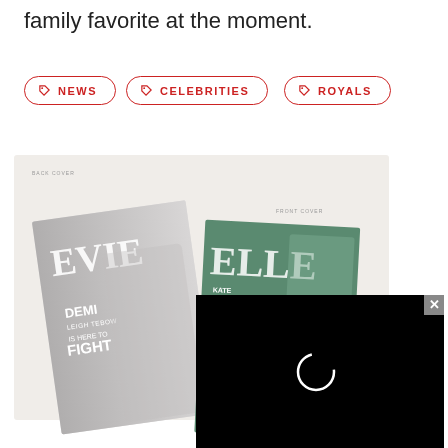family favorite at the moment.
NEWS
CELEBRITIES
ROYALS
[Figure (photo): Two ELLE magazine covers overlapping: one black-and-white back cover featuring Demi Leigh Tebow 'Is Here to Fight', and a front cover featuring Kate Boce with headlines 'Just love?', 'The Art of Feminine Fitness'. A black video player overlay is shown in the bottom right.]